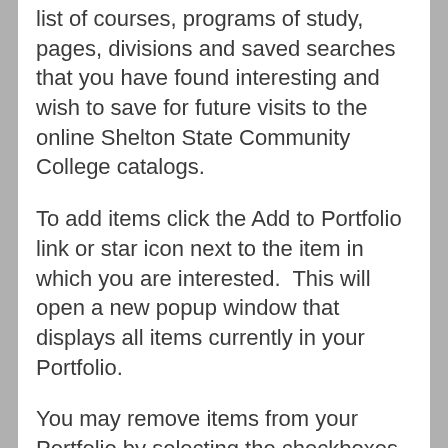list of courses, programs of study, pages, divisions and saved searches that you have found interesting and wish to save for future visits to the online Shelton State Community College catalogs.
To add items click the Add to Portfolio link or star icon next to the item in which you are interested.  This will open a new popup window that displays all items currently in your Portfolio.
You may remove items from your Portfolio by selecting the checkboxes next to them and clicking the Remove button.
Note: Items suffixed with the text [From Previous Catalog] are from older, outdated